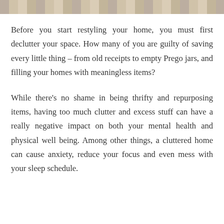[Figure (photo): Partial image at top of page showing what appears to be papers or receipts, cropped at the top edge.]
Before you start restyling your home, you must first declutter your space. How many of you are guilty of saving every little thing – from old receipts to empty Prego jars, and filling your homes with meaningless items?
While there's no shame in being thrifty and repurposing items, having too much clutter and excess stuff can have a really negative impact on both your mental health and physical well being. Among other things, a cluttered home can cause anxiety, reduce your focus and even mess with your sleep schedule.